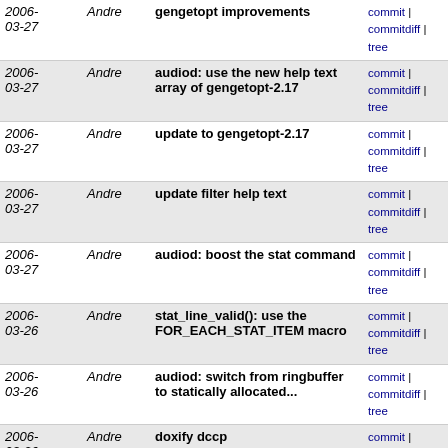| Date | Author | Message | Links |
| --- | --- | --- | --- |
| 2006-03-27 | Andre | gengetopt improvements | commit | commitdiff | tree |
| 2006-03-27 | Andre | audiod: use the new help text array of gengetopt-2.17 | commit | commitdiff | tree |
| 2006-03-27 | Andre | update to gengetopt-2.17 | commit | commitdiff | tree |
| 2006-03-27 | Andre | update filter help text | commit | commitdiff | tree |
| 2006-03-27 | Andre | audiod: boost the stat command | commit | commitdiff | tree |
| 2006-03-26 | Andre | stat_line_valid(): use the FOR_EACH_STAT_ITEM macro | commit | commitdiff | tree |
| 2006-03-26 | Andre | audiod: switch from ringbuffer to statically allocated... | commit | commitdiff | tree |
| 2006-03-26 | Andre | doxify dccp | commit | commitdiff | tree |
| 2006-03-26 | Andre | Add -Wwrite-strings to CPPFLAGS | commit | commitdiff | tree |
| 2006-03-26 | Andre | use const qualifiers where possible | commit | commitdiff | tree |
| 2006-03-25 | Andre | mysql_selector.c: whitespace cleanup | commit | commitdiff | tree |
| 2006-03-25 | Andre | audiod: Kill another unused variable | commit | commitdiff | tree |
| 2006-03-25 | Andre | ortp_send: Kill an unused variable | commit | commitdiff | tree |
| 2006-03-25 | Andre | mysql selector: Fix a memory leak in | commit | commitdiff |